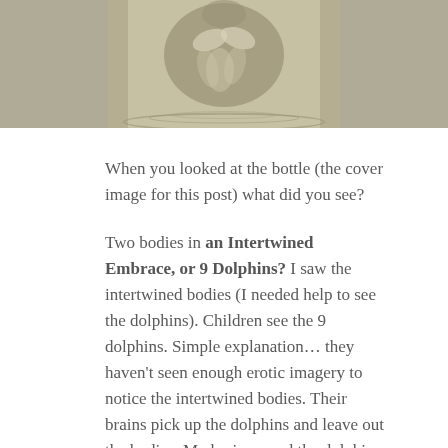[Figure (illustration): Sepia-toned illustration of a bottle/image that can be seen as either two intertwined human bodies or 9 dolphins, partially cropped at the top of the page.]
When you looked at the bottle (the cover image for this post) what did you see?
Two bodies in an Intertwined Embrace, or 9 Dolphins? I saw the intertwined bodies (I needed help to see the dolphins). Children see the 9 dolphins. Simple explanation… they haven't seen enough erotic imagery to notice the intertwined bodies. Their brains pick up the dolphins and leave out the bodies. My brain erased the dolphins (I imagine yours did the same)
I asked some friends with younger children to do this exercise with their kids. The results, thanks to those who played illustrated this exactly as it's supposed to be. In my small sample 7 seems to be the cut off age